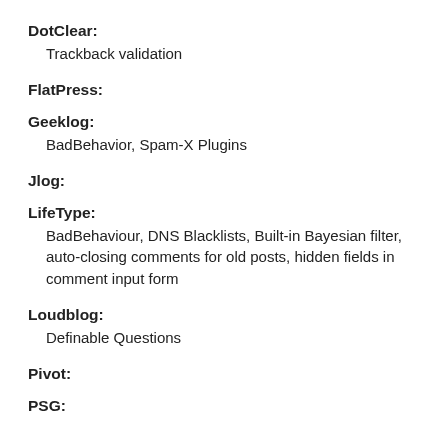DotClear:
Trackback validation
FlatPress:
Geeklog:
BadBehavior, Spam-X Plugins
Jlog:
LifeType:
BadBehaviour, DNS Blacklists, Built-in Bayesian filter, auto-closing comments for old posts, hidden fields in comment input form
Loudblog:
Definable Questions
Pivot:
PSG: